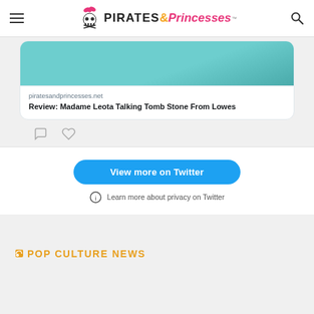Pirates & Princesses
[Figure (screenshot): Partial Twitter/X embed card showing a teal/turquoise image at the top, a link preview for piratesandprincesses.net with title 'Review: Madame Leota Talking Tomb Stone From Lowes', comment and like icons, a 'View more on Twitter' blue button, and 'Learn more about privacy on Twitter' note.]
POP CULTURE NEWS